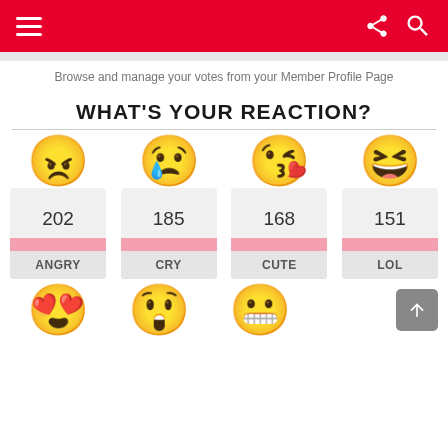Navigation header with hamburger menu, share and search icons
Browse and manage your votes from your Member Profile Page
WHAT'S YOUR REACTION?
[Figure (infographic): Four reaction emoji icons (Angry, Cry, Cute, LOL) with vote counts 202, 185, 168, 151 and pink bar indicators and labels]
[Figure (infographic): Bottom row of three emoji icons (heart-eyes, shocked, grinning-teeth) partially visible]